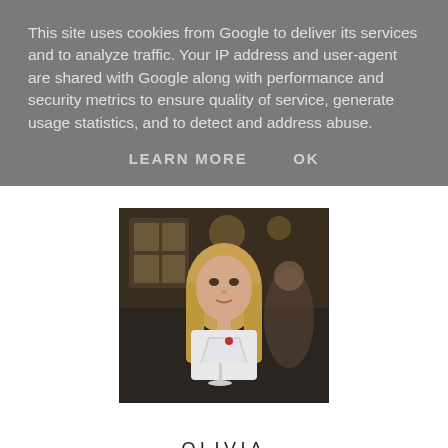This site uses cookies from Google to deliver its services and to analyze traffic. Your IP address and user-agent are shared with Google along with performance and security metrics to ensure quality of service, generate usage statistics, and to detect and address abuse.
LEARN MORE    OK
[Figure (photo): A young woman with long blonde hair sitting in a restaurant/bar setting, wearing a white top, with a cocktail glass in front of her and other patrons visible in the background.]
OLIVIA
21 / DENTAL STUDENT / LIBRA / MAKE UP HOARDER / RAMBLER